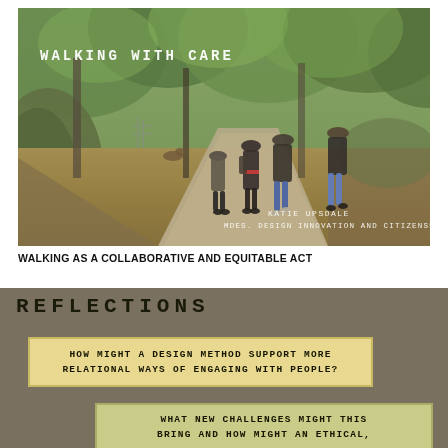[Figure (photo): Four people walking along a forest path surrounded by green trees. Text overlay reads 'WALKING WITH CARE' at top left, and 'KATIE UPSDALE / MDES. DESIGN INNOVATION AND CITIZENSHIP' at bottom right.]
WALKING AS A COLLABORATIVE AND EQUITABLE ACT
REFLECTIONS
HOW MIGHT A DESIGN METHOD SUPPORT MORE RELATIONAL WAYS OF ENGAGING WITH PEOPLE?
WHAT NEW CHALLENGES MIGHT THIS BRING AND HOW MIGHT AN ETHICAL,